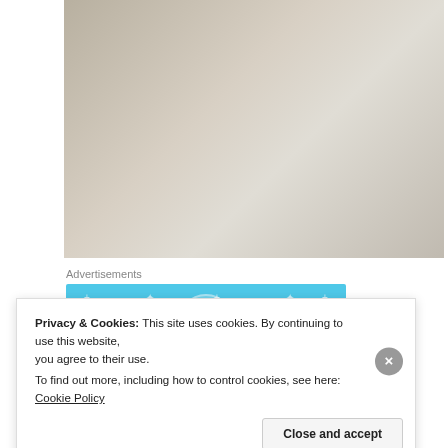[Figure (photo): A plastic-wrapped package with Arabic text label on top showing phone numbers and addresses]
Advertisements
[Figure (illustration): Day One app advertisement banner with blue background, showing three icons (notebook, person with helmet, checklist) and text 'DAY ONE — The only journaling']
Privacy & Cookies: This site uses cookies. By continuing to use this website, you agree to their use.
To find out more, including how to control cookies, see here: Cookie Policy
Close and accept